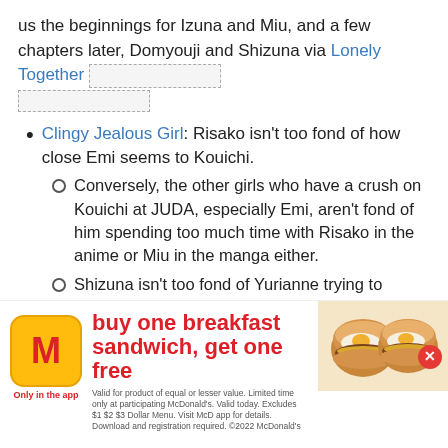us the beginnings for Izuna and Miu, and a few chapters later, Domyouji and Shizuna via Lonely Together [image placeholder]
Clingy Jealous Girl: Risako isn't too fond of how close Emi seems to Kouichi.
Conversely, the other girls who have a crush on Kouichi at JUDA, especially Emi, aren't fond of him spending too much time with Risako in the anime or Miu in the manga either.
Shizuna isn't too fond of Yurianne trying to "steal" her brother Izuna away in the anime.
The manga eventually gives us Ohba who serves this role towards Moritsugu. An omake shows her and Satoru trying to out-cling each other before they bond over their love of Super Robot ani[cut off by ad]
Combat Tentacles: Decisive Uses th[cut off]...and Warfare against ARMA and Machina pilots and to access computer systems.
[Figure (photo): McDonald's advertisement overlay: buy one breakfast sandwich, get one free. Only in the app. McDonald's logo visible with burger images.]